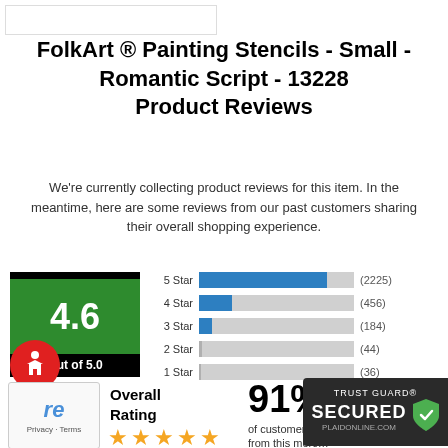FolkArt ® Painting Stencils - Small - Romantic Script - 13228 Product Reviews
We're currently collecting product reviews for this item. In the meantime, here are some reviews from our past customers sharing their overall shopping experience.
[Figure (bar-chart): Star Ratings]
4.6 Out of 5.0
Overall Rating
91%
of customers from this merc... them a 4 or 5...